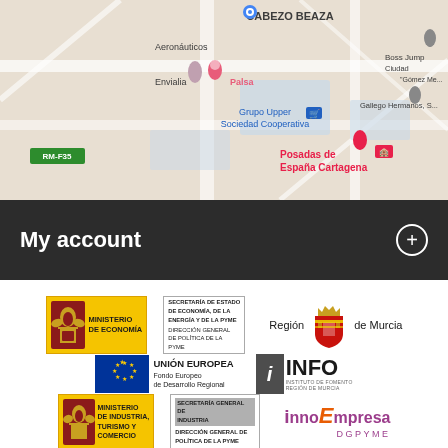[Figure (map): Google Maps screenshot showing streets around Cartagena area with labeled locations: Aeronáuticos, Envialia, Palsa, Grupo Upper Sociedad Cooperativa, Gallego Hermanos S.L., Boss Jump Ciudad Gómez, Posadas de España Cartagena, RM-F35 road label]
My account
[Figure (logo): Ministerio de Economía logo with eagle shield on yellow background, Secretaría de Estado de Economía de la Energía y de la PYME, Dirección General de Política de la PYME]
[Figure (logo): Región de Murcia logo with crown and shield]
[Figure (logo): Unión Europea - Fondo Europeo de Desarrollo Regional with EU flag]
[Figure (logo): INFO - Instituto de Fomento Región de Murcia]
[Figure (logo): Ministerio de Industria, Turismo y Comercio with eagle shield, Secretaría General de Industria, Dirección General de Política de la PYME]
[Figure (logo): InnoEmpresa DGPYME logo in purple and orange]